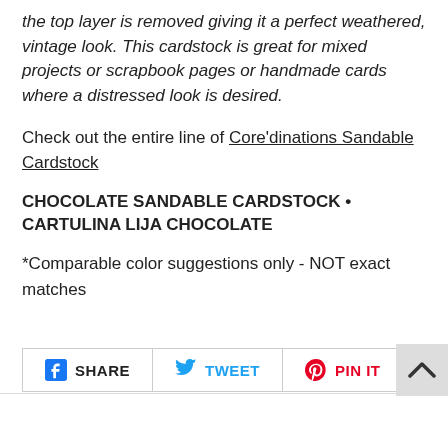the top layer is removed giving it a perfect weathered, vintage look. This cardstock is great for mixed projects or scrapbook pages or handmade cards where a distressed look is desired.
Check out the entire line of Core'dinations Sandable Cardstock
CHOCOLATE SANDABLE CARDSTOCK • CARTULINA LIJA CHOCOLATE
*Comparable color suggestions only - NOT exact matches
[Figure (other): Social share buttons: SHARE (Facebook), TWEET (Twitter), PIN IT (Pinterest)]
[Figure (other): Scroll to top button with upward chevron arrow]